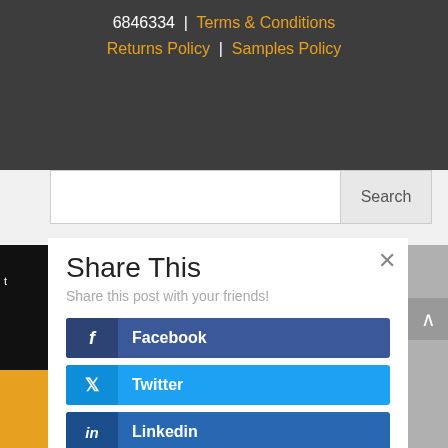6846334 | Terms & Conditions Returns Policy | Samples Policy
Search
Share This
Share this post with your friends!
Facebook
Twitter
Linkedin